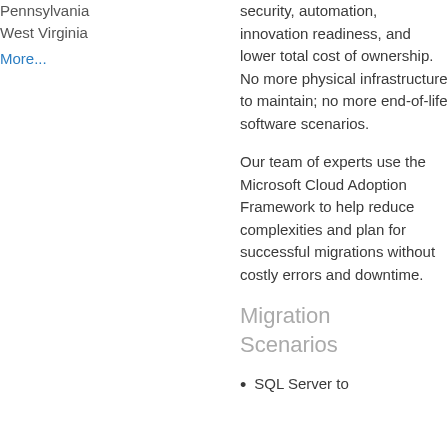Pennsylvania
West Virginia
More...
security, automation, innovation readiness, and lower total cost of ownership. No more physical infrastructure to maintain; no more end-of-life software scenarios.
Our team of experts use the Microsoft Cloud Adoption Framework to help reduce complexities and plan for successful migrations without costly errors and downtime.
Migration Scenarios
SQL Server to